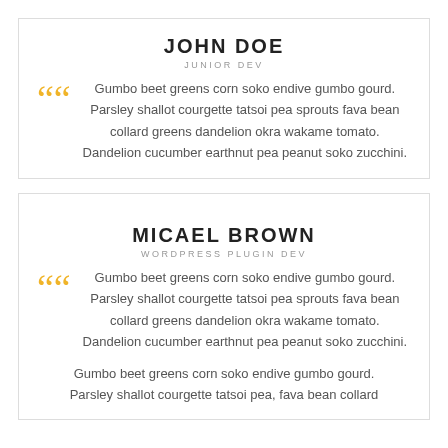JOHN DOE
JUNIOR DEV
Gumbo beet greens corn soko endive gumbo gourd. Parsley shallot courgette tatsoi pea sprouts fava bean collard greens dandelion okra wakame tomato. Dandelion cucumber earthnut pea peanut soko zucchini.
MICAEL BROWN
WORDPRESS PLUGIN DEV
Gumbo beet greens corn soko endive gumbo gourd. Parsley shallot courgette tatsoi pea sprouts fava bean collard greens dandelion okra wakame tomato. Dandelion cucumber earthnut pea peanut soko zucchini.
Gumbo beet greens corn soko endive gumbo gourd. Parsley shallot courgette tatsoi pea, fava bean collard